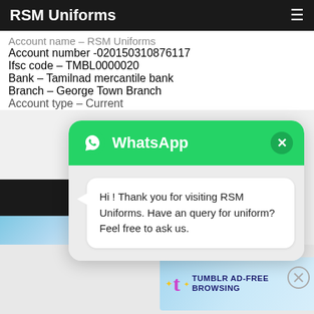RSM Uniforms
Account name – RSM Uniforms
Account number -020150310876117
Ifsc code – TMBL0000020
Bank – Tamilnad mercantile bank
Branch – George Town Branch
Account type – Current
[Figure (screenshot): WhatsApp chat widget popup with green header showing WhatsApp logo and title, and a message bubble: 'Hi ! Thank you for visiting RSM Uniforms. Have an query for uniform? Feel free to ask us.']
Advertisements
[Figure (other): Tumblr Ad-Free Browsing advertisement banner: $39.99 a year or $4.99 a month]